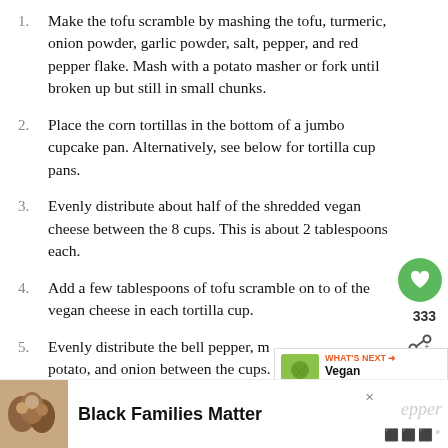1. Make the tofu scramble by mashing the tofu, turmeric, onion powder, garlic powder, salt, pepper, and red pepper flake. Mash with a potato masher or fork until broken up but still in small chunks.
2. Place the corn tortillas in the bottom of a jumbo cupcake pan. Alternatively, see below for tortilla cup pans.
3. Evenly distribute about half of the shredded vegan cheese between the 8 cups. This is about 2 tablespoons each.
4. Add a few tablespoons of tofu scramble on top of the vegan cheese in each tortilla cup.
5. Evenly distribute the bell pepper, m[ashed] potato, and onion between the cups. [Use] about a tablespoon of each into each cup. Add
[Figure (infographic): Heart/like button (green circle with heart icon), share count 333, share icon]
[Figure (infographic): What's Next promo: Vegan Breakfast...]
Black Families Matter
[Figure (photo): Ad banner with photo of people and 'Black Families Matter' text, with pepper/logo branding]